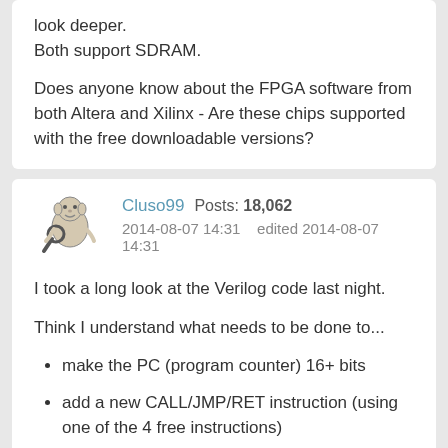look deeper.
Both support SDRAM.

Does anyone know about the FPGA software from both Altera and Xilinx - Are these chips supported with the free downloadable versions?
Cluso99  Posts: 18,062
2014-08-07 14:31    edited 2014-08-07 14:31
I took a long look at the Verilog code last night.
Think I understand what needs to be done to...
make the PC (program counter) 16+ bits
add a new CALL/JMP/RET instruction (using one of the 4 free instructions)
to include a 16-18 bit immediate absolute goto address